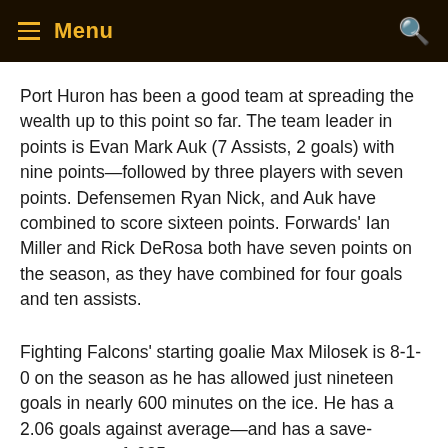Menu
Port Huron has been a good team at spreading the wealth up to this point so far. The team leader in points is Evan Mark Auk (7 Assists, 2 goals) with nine points—followed by three players with seven points. Defensemen Ryan Nick, and Auk have combined to score sixteen points. Forwards' Ian Miller and Rick DeRosa both have seven points on the season, as they have combined for four goals and ten assists.
Fighting Falcons' starting goalie Max Milosek is 8-1-0 on the season as he has allowed just nineteen goals in nearly 600 minutes on the ice. He has a 2.06 goals against average—and has a save-percentage of .935.